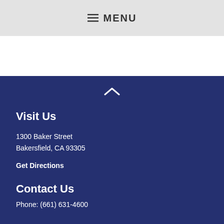☰ MENU
Visit Us
1300 Baker Street
Bakersfield, CA 93305
Get Directions
Contact Us
Phone: (661) 631-4600